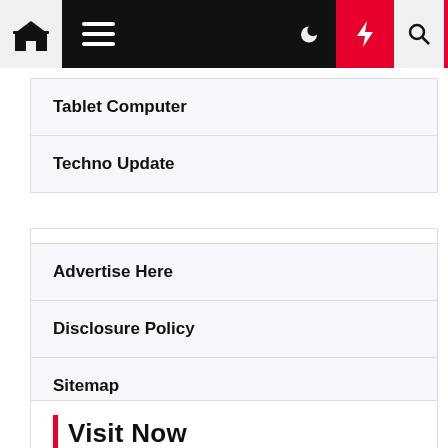Navigation bar with home, menu, moon, bolt, and search icons
Tablet Computer
Techno Update
Advertise Here
Disclosure Policy
Sitemap
Contact Us
Visit Now
Technnology